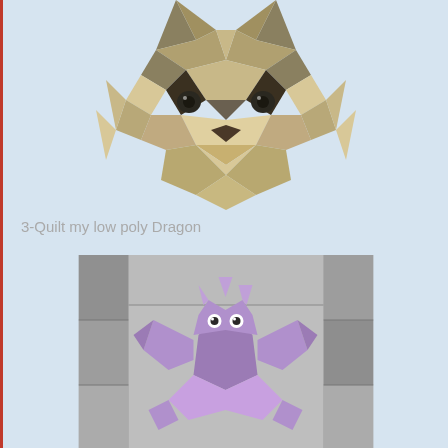[Figure (illustration): Low poly geometric raccoon face illustration made of triangular facets in tan, olive, brown, and dark tones]
3-Quilt my low poly Dragon
[Figure (photo): Photo of a quilt featuring a purple and pink low poly dragon design on a grey patchwork background with various fabric patterns]